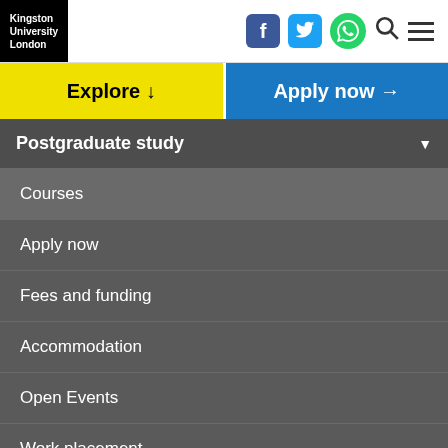[Figure (logo): Kingston University London logo — white text on black background]
[Figure (infographic): Social media icons: Facebook (blue rounded square), Twitter (blue rounded square), WhatsApp (green circle), Search magnifier, Hamburger menu]
Explore ↓
Apply now →
Postgraduate study
Courses
Apply now
Fees and funding
Accommodation
Open Events
Work placement
Study resources